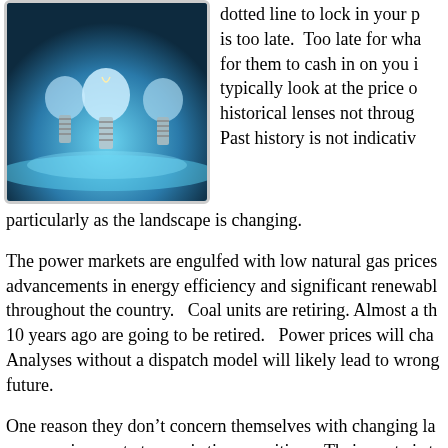[Figure (photo): Three glass light bulbs glowing with blue light against a dark blue background]
dotted line to lock in your p is too late.  Too late for wha for them to cash in on you i typically look at the price o historical lenses not throug Past history is not indicativ particularly as the landscape is changing.
The power markets are engulfed with low natural gas prices advancements in energy efficiency and significant renewabl throughout the country.   Coal units are retiring. Almost a th 10 years ago are going to be retired.   Power prices will cha Analyses without a dispatch model will likely lead to wrong future.
One reason they don't concern themselves with changing la power price quote to you is time sensitive.   Their quote is t they too are “locking” in their power price.   Most marketer